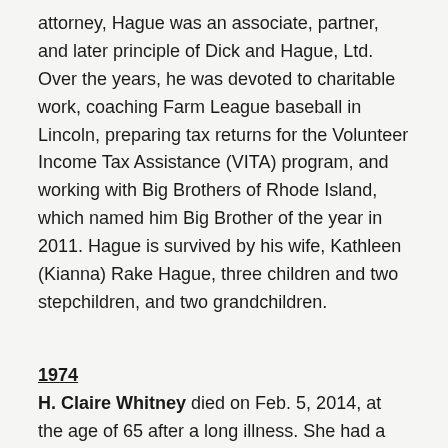attorney, Hague was an associate, partner, and later principle of Dick and Hague, Ltd. Over the years, he was devoted to charitable work, coaching Farm League baseball in Lincoln, preparing tax returns for the Volunteer Income Tax Assistance (VITA) program, and working with Big Brothers of Rhode Island, which named him Big Brother of the year in 2011. Hague is survived by his wife, Kathleen (Kianna) Rake Hague, three children and two stepchildren, and two grandchildren.
1974
H. Claire Whitney died on Feb. 5, 2014, at the age of 65 after a long illness. She had a long and successful career with the U.S. Justice Department, recently